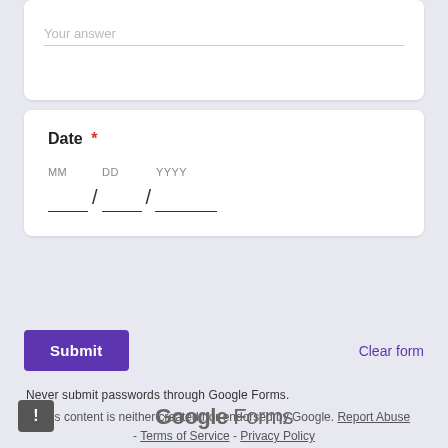Your answer
Date *
MM  DD  YYYY
Submit
Clear form
Never submit passwords through Google Forms.
This content is neither created nor endorsed by Google. Report Abuse - Terms of Service - Privacy Policy
Google Forms